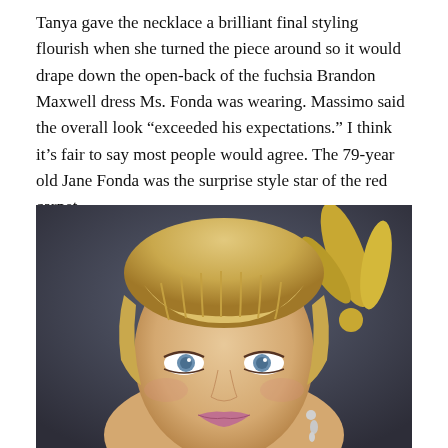Tanya gave the necklace a brilliant final styling flourish when she turned the piece around so it would drape down the open-back of the fuchsia Brandon Maxwell dress Ms. Fonda was wearing. Massimo said the overall look “exceeded his expectations.” I think it’s fair to say most people would agree. The 79-year old Jane Fonda was the surprise style star of the red carpet.
[Figure (photo): Close-up photo of Jane Fonda with blonde bangs, blue eyes, wearing earrings, against a dark blue-grey background with a gold Emmy Award logo visible]